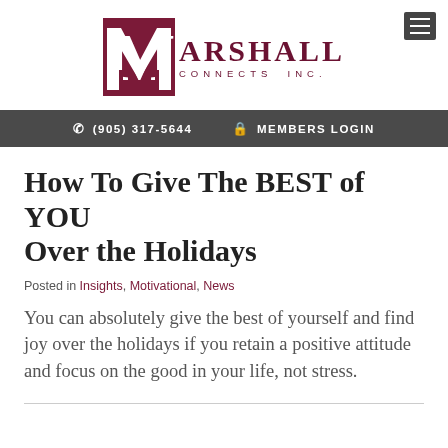[Figure (logo): Marshall Connects Inc. logo with dark red M icon and serif text ARSHALL / CONNECTS INC.]
(905) 317-5644   MEMBERS LOGIN
How To Give The BEST of YOU Over the Holidays
Posted in Insights, Motivational, News
You can absolutely give the best of yourself and find joy over the holidays if you retain a positive attitude and focus on the good in your life, not stress.